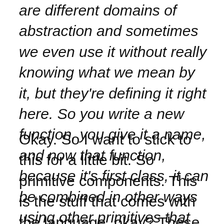are different domains of abstraction and sometimes we even use it without really knowing what we mean by it, but they're defining it right here. So you write a new function, you give it a name, and now that function, because it's first class, it can be combined in other ways using other primitives that exist.
Okay. So I want to stick to this for a little bit. So primitive components. This is the stuff that comes with the language, okay? These are your built in data types. Your built in functions. Then you have means by which these can be combined. Okay. So in a Lisp, that would be, make a new function or making a compound data type if you've got types in your language. In something like Java, it would be you can combine these classes, these objects